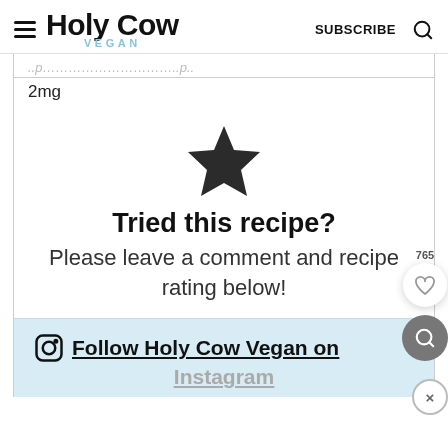Holy Cow Vegan | SUBSCRIBE
2mg
[Figure (illustration): Black star icon centered on page]
Tried this recipe?
Please leave a comment and recipe rating below!
Follow Holy Cow Vegan on Instagram